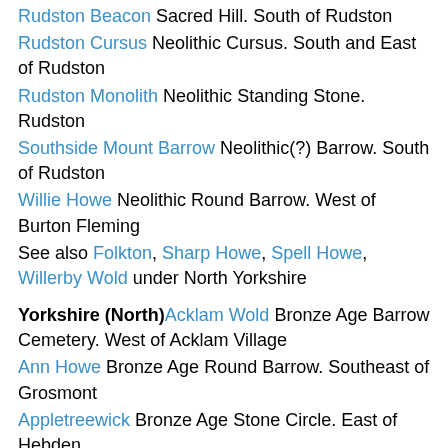Rudston Beacon Sacred Hill. South of Rudston
Rudston Cursus Neolithic Cursus. South and East of Rudston
Rudston Monolith Neolithic Standing Stone. Rudston
Southside Mount Barrow Neolithic(?) Barrow. South of Rudston
Willie Howe Neolithic Round Barrow. West of Burton Fleming
See also Folkton, Sharp Howe, Spell Howe, Willerby Wold under North Yorkshire
Yorkshire (North) Acklam Wold Bronze Age Barrow Cemetery. West of Acklam Village
Ann Howe Bronze Age Round Barrow. Southeast of Grosmont
Appletreewick Bronze Age Stone Circle. East of Hebden.
Beacon Howes Bronze Age Round Barrows. West of